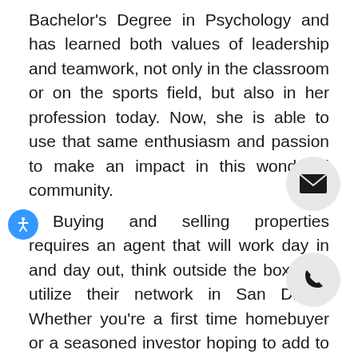Bachelor's Degree in Psychology and has learned both values of leadership and teamwork, not only in the classroom or on the sports field, but also in her profession today. Now, she is able to use that same enthusiasm and passion to make an impact in this wonderful community.
[Figure (illustration): Email button: circular grey button with envelope icon]
[Figure (illustration): Accessibility icon: blue circle with white accessibility person icon]
Buying and selling properties requires an agent that will work day in and day out, think outside the box, and utilize their network in San Diego. Whether you're a first time homebuyer or a seasoned investor hoping to add to your portfolio, Sarena is eager to work together to
[Figure (illustration): Phone button: circular grey button with phone handset icon]